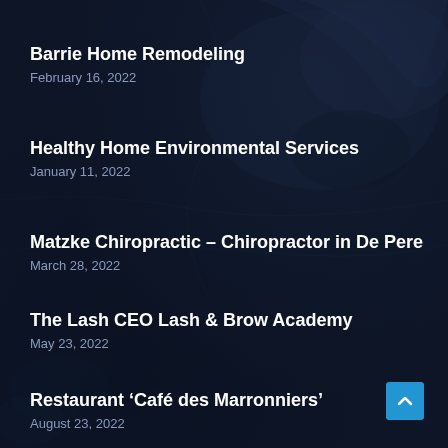Barrie Home Remodeling
February 16, 2022
Healthy Home Environmental Services
January 11, 2022
Matzke Chiropractic – Chiropractor in De Pere
March 28, 2022
The Lash CEO Lash & Brow Academy
May 23, 2022
Restaurant ‘Café des Marronniers’
August 23, 2022